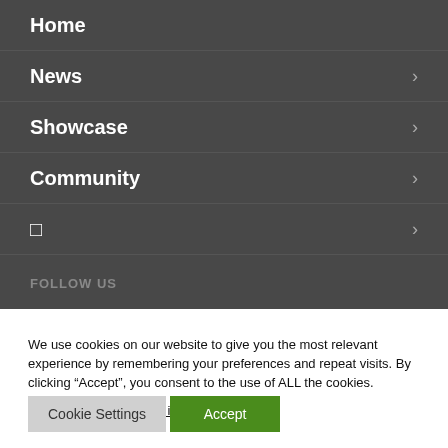Home
News >
Showcase >
Community >
□ >
FOLLOW US
We use cookies on our website to give you the most relevant experience by remembering your preferences and repeat visits. By clicking “Accept”, you consent to the use of ALL the cookies. Do not sell my personal information.
Cookie Settings  Accept